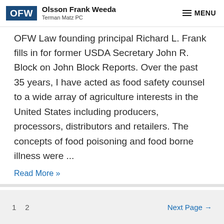OFW Olsson Frank Weeda Terman Matz PC | MENU
OFW Law founding principal Richard L. Frank fills in for former USDA Secretary John R. Block on John Block Reports. Over the past 35 years, I have acted as food safety counsel to a wide array of agriculture interests in the United States including producers, processors, distributors and retailers. The concepts of food poisoning and food borne illness were ...
Read More »
1  2  Next Page →